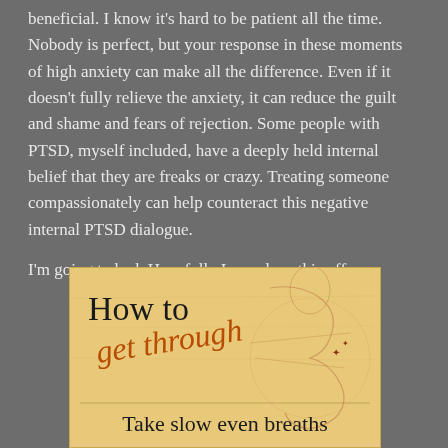beneficial. I know it's hard to be patient all the time. Nobody is perfect, but your response in these moments of high anxiety can make all the difference. Even if it doesn't fully relieve the anxiety, it can reduce the guilt and shame and fears of rejection. Some people with PTSD, myself included, have a deeply held internal belief that they are freaks or crazy. Treating someone compassionately can help counteract this negative internal PTSD dialogue.
I'm going to bed. Hopefully I can sleep this off.
[Figure (illustration): Book cover image showing 'How to get through' in mixed typography (print and handwritten script) with a Da Vinci-style sketch background, and text 'Take slow even breaths' at the bottom]